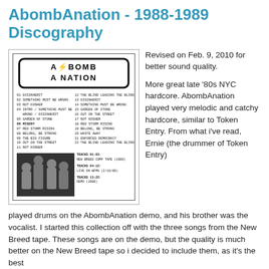AbombAnation - 1988-1989 Discography
[Figure (other): Album cover scan showing AbombAnation band logo at top, two-column tracklist of 22 songs, a band photo (black and white), and track source information listing New Breed Comp Tape (1989), Live on WFMU (2/16/89), and Demo (1988).]
Revised on Feb. 9, 2010 for better sound quality.
More great late '80s NYC hardcore. AbombAnation played very melodic and catchy hardcore, similar to Token Entry. From what i've read, Ernie (the drummer of Token Entry) played drums on the AbombAnation demo, and his brother was the vocalist. I started this collection off with the three songs from the New Breed tape. These songs are on the demo, but the quality is much better on the New Breed tape so i decided to include them, as it's the best